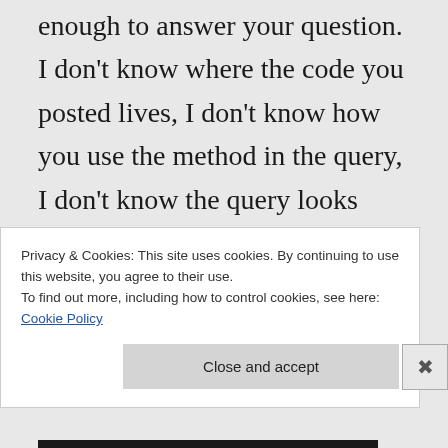enough to answer your question. I don't know where the code you posted lives, I don't know how you use the method in the query, I don't know the query looks like, I don't even know what the error is (if any). Post a full
Privacy & Cookies: This site uses cookies. By continuing to use this website, you agree to their use.
To find out more, including how to control cookies, see here: Cookie Policy
Close and accept